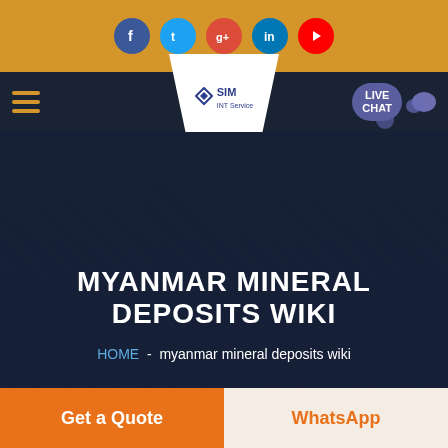[Figure (screenshot): Website screenshot showing social media icons (Facebook, Twitter, Google+, LinkedIn, YouTube) on amber top bar]
[Figure (screenshot): Navigation bar with hamburger menu, SIM logo in white trapezoid, and LIVE CHAT button]
MYANMAR MINERAL DEPOSITS WIKI
HOME  -  myanmar mineral deposits wiki
[Figure (photo): Partial view of an interior/architectural image at bottom]
Get a Quote
WhatsApp